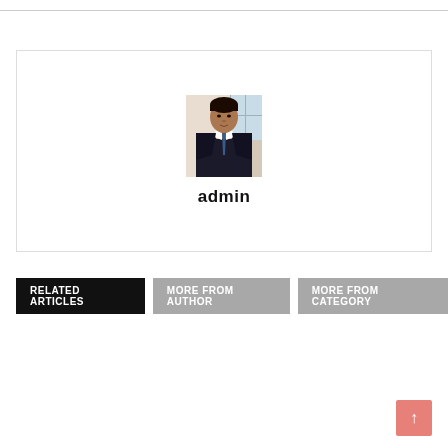[Figure (photo): Author profile photo showing a man in a dark suit with a tie, standing indoors near a window.]
admin
RELATED ARTICLES
MORE FROM AUTHOR
MORE FROM CATEGORY